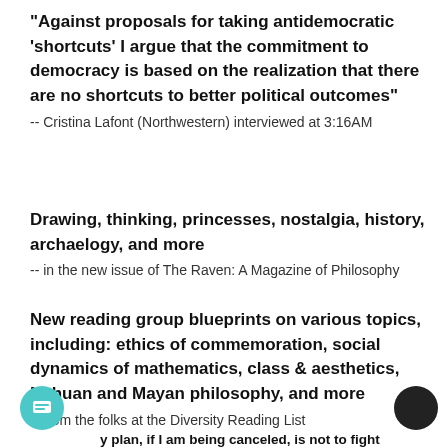“Against proposals for taking antidemocratic ‘shortcuts’ I argue that the commitment to democracy is based on the realization that there are no shortcuts to better political outcomes”
-- Cristina Lafont (Northwestern) interviewed at 3:16AM
Drawing, thinking, princesses, nostalgia, history, archaelogy, and more
-- in the new issue of The Raven: A Magazine of Philosophy
New reading group blueprints on various topics, including: ethics of commemoration, social dynamics of mathematics, class & aesthetics, Nahuan and Mayan philosophy, and more
-- from the folks at the Diversity Reading List
6
y plan, if I am being canceled, is not to fight it” -- I can quickly put an end to the accusations with some